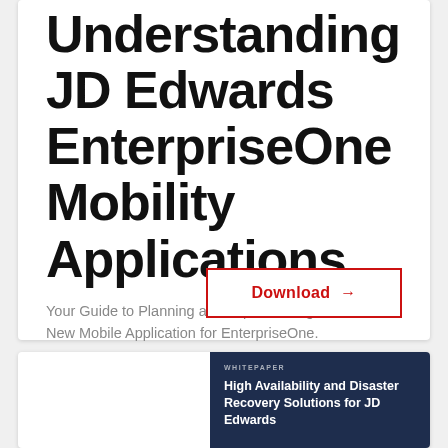Understanding JD Edwards EnterpriseOne Mobility Applications
Your Guide to Planning and Implementing a New Mobile Application for EnterpriseOne.
Download →
[Figure (screenshot): Dark navy blue book/whitepaper cover with title 'High Availability and Disaster Recovery Solutions for JD Edwards' and a small 'WHITEPAPER' label above]
High Availability and Disaster Recovery Solutions for JD Edwards